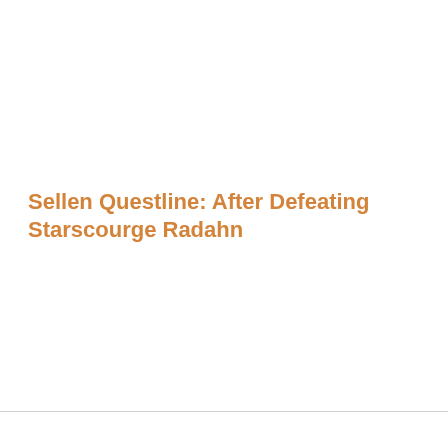Sellen Questline: After Defeating Starscourge Radahn